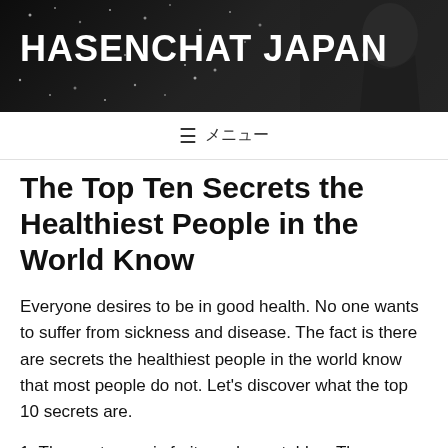[Figure (photo): Dark banner with 'HASENCHAT JAPAN' text and a person in the background]
HASENCHAT JAPAN
≡ メニュー
The Top Ten Secrets the Healthiest People in the World Know
Everyone desires to be in good health. No one wants to suffer from sickness and disease. The fact is there are secrets the healthiest people in the world know that most people do not. Let's discover what the top 10 secrets are.
1. They eat organic fruits and vegetables. The healthiest people in the world eat lots of fresh, organic, and raw